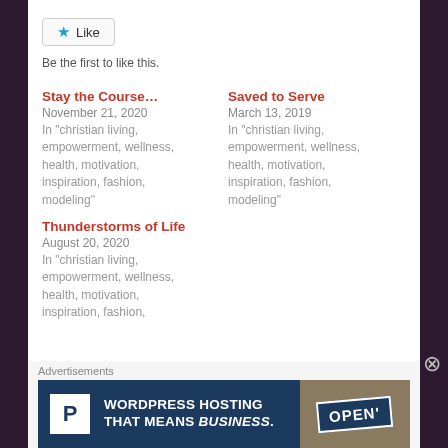[Figure (other): Like button widget with blue star icon and 'Like' text, followed by 'Be the first to like this.' subtext]
Be the first to like this.
Stay the Course…
November 21, 2020
In "christian living, empowerment, wellness, health, motivation, inspiration, fashion, modeling"
Saved to Serve
March 13, 2019
In "christian living, empowerment, wellness, health, motivation, inspiration, fashion, modeling"
Thunderstorms of Life
August 20, 2020
In "christian living, empowerment, wellness, health, motivation, inspiration, fashion,
Advertisements
[Figure (infographic): WordPress Hosting advertisement banner: White P icon on left, text 'WORDPRESS HOSTING THAT MEANS BUSINESS.' in white on dark blue background, photo of OPEN sign on right]